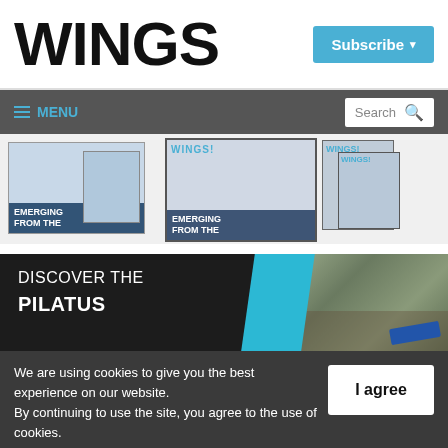WINGS
Subscribe ▾
≡ MENU   Search 🔍
[Figure (screenshot): Screenshots of Wings magazine digital editions showing covers with 'EMERGING FROM THE' headlines and aircraft imagery]
[Figure (screenshot): Advertisement banner: DISCOVER THE PILATUS — dark background with blue stripe and aerial mountainous terrain]
We are using cookies to give you the best experience on our website. By continuing to use the site, you agree to the use of cookies. To find out more, read our privacy policy.
I agree